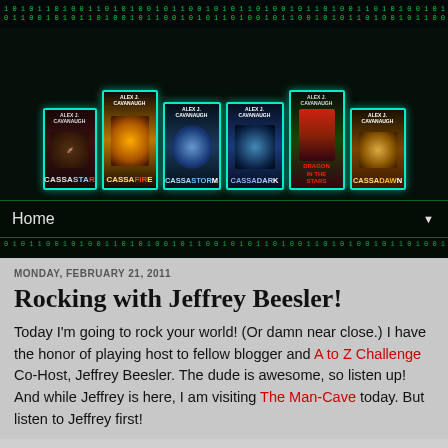[Figure (illustration): Blog header banner showing sci-fi book covers by Alex J. Cavanaugh on a dark matrix/binary code background with teal/green digital rain. Books shown: CassaStar, CassaFire, CassaStorm, CassaDark, Dragon in the Stars, CassaDawn.]
Home ▼
MONDAY, FEBRUARY 21, 2011
Rocking with Jeffrey Beesler!
Today I'm going to rock your world! (Or damn near close.) I have the honor of playing host to fellow blogger and A to Z Challenge Co-Host, Jeffrey Beesler. The dude is awesome, so listen up! And while Jeffrey is here, I am visiting The Man-Cave today. But listen to Jeffrey first!